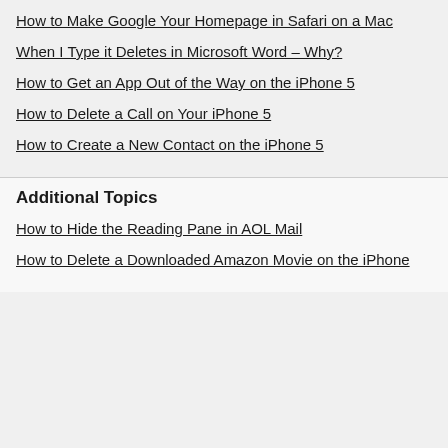How to Make Google Your Homepage in Safari on a Mac
When I Type it Deletes in Microsoft Word – Why?
How to Get an App Out of the Way on the iPhone 5
How to Delete a Call on Your iPhone 5
How to Create a New Contact on the iPhone 5
Additional Topics
How to Hide the Reading Pane in AOL Mail
How to Delete a Downloaded Amazon Movie on the iPhone